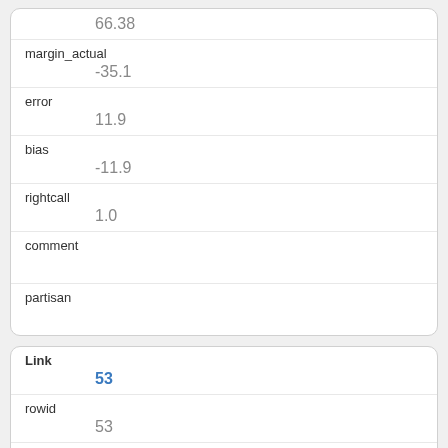| Field | Value |
| --- | --- |
|  | 66.38 |
| margin_actual | -35.1 |
| error | 11.9 |
| bias | -11.9 |
| rightcall | 1.0 |
| comment |  |
| partisan |  |
| Field | Value |
| --- | --- |
| Link | 53 |
| rowid | 53 |
| pollno | 5380051 |